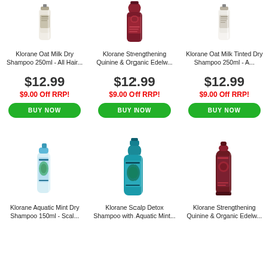[Figure (photo): Klorane Oat Milk Dry Shampoo 250ml product bottle (top row, left)]
Klorane Oat Milk Dry Shampoo 250ml - All Hair...
$12.99
$9.00 Off RRP!
BUY NOW
[Figure (photo): Klorane Strengthening Quinine & Organic Edelweiss shampoo bottle (top row, center)]
Klorane Strengthening Quinine & Organic Edelw...
$12.99
$9.00 Off RRP!
BUY NOW
[Figure (photo): Klorane Oat Milk Tinted Dry Shampoo 250ml product bottle (top row, right)]
Klorane Oat Milk Tinted Dry Shampoo 250ml - A...
$12.99
$9.00 Off RRP!
BUY NOW
[Figure (photo): Klorane Aquatic Mint Dry Shampoo 150ml can (bottom row, left)]
Klorane Aquatic Mint Dry Shampoo 150ml - Scal...
[Figure (photo): Klorane Scalp Detox Shampoo with Aquatic Mint bottle (bottom row, center)]
Klorane Scalp Detox Shampoo with Aquatic Mint...
[Figure (photo): Klorane Strengthening Quinine & Organic Edelweiss tube (bottom row, right)]
Klorane Strengthening Quinine & Organic Edelw...